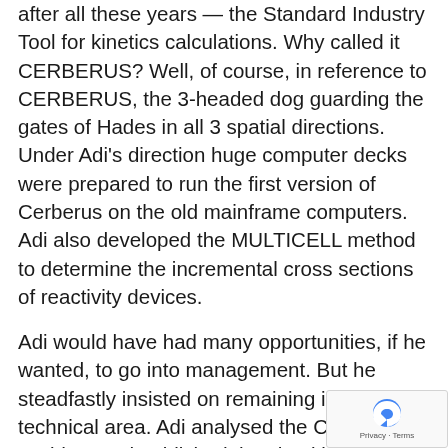after all these years — the Standard Industry Tool for kinetics calculations. Why called it CERBERUS? Well, of course, in reference to CERBERUS, the 3-headed dog guarding the gates of Hades in all 3 spatial directions. Under Adi's direction huge computer decks were prepared to run the first version of Cerberus on the old mainframe computers. Adi also developed the MULTICELL method to determine the incremental cross sections of reactivity devices.
Adi would have had many opportunities, if he wanted, to go into management. But he steadfastly insisted on remaining in the technical area. Adi analysed the Chernobyl accident and published the shocking conclusion that the Chernobyl shutoff rods actually worsened the accident – instead of arresting or mitigating it – by inserting